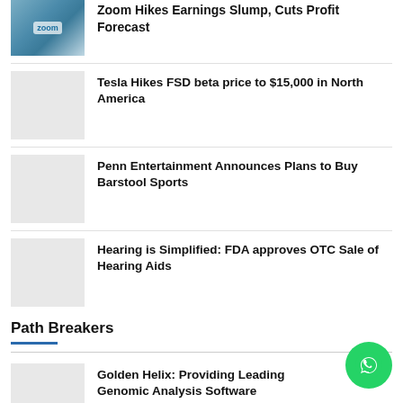[Figure (photo): Zoom office building exterior with blue tinted glass facade]
Zoom Hikes Earnings Slump, Cuts Profit Forecast
[Figure (photo): Placeholder image for Tesla FSD article]
Tesla Hikes FSD beta price to $15,000 in North America
[Figure (photo): Placeholder image for Penn Entertainment article]
Penn Entertainment Announces Plans to Buy Barstool Sports
[Figure (photo): Placeholder image for Hearing Aids article]
Hearing is Simplified: FDA approves OTC Sale of Hearing Aids
Path Breakers
[Figure (photo): Placeholder image for Golden Helix article]
Golden Helix: Providing Leading Genomic Analysis Software